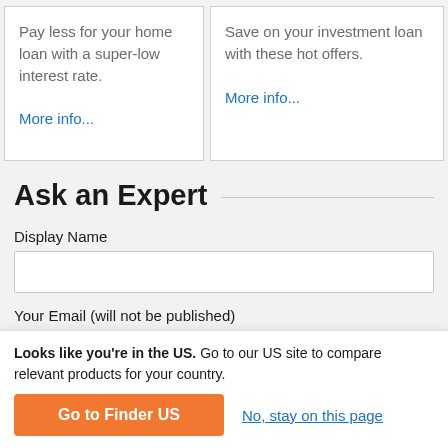Pay less for your home loan with a super-low interest rate.
More info...
Save on your investment loan with these hot offers.
More info...
Ask an Expert
Display Name
Your Email (will not be published)
Looks like you're in the US. Go to our US site to compare relevant products for your country.
Go to Finder US
No, stay on this page